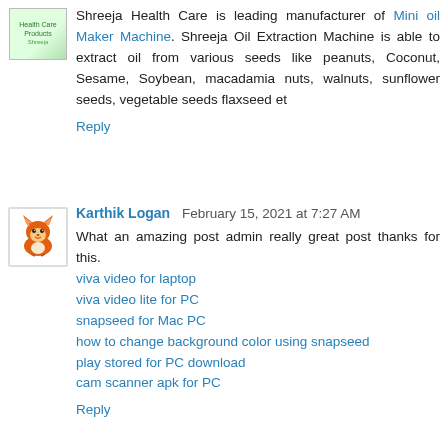[Figure (logo): Shreeja Health Care logo - small green/yellow product image avatar]
Shreeja Health Care is leading manufacturer of Mini oil Maker Machine. Shreeja Oil Extraction Machine is able to extract oil from various seeds like peanuts, Coconut, Sesame, Soybean, macadamia nuts, walnuts, sunflower seeds, vegetable seeds flaxseed et
Reply
[Figure (illustration): Fox avatar icon for user Karthik Logan]
Karthik Logan  February 15, 2021 at 7:27 AM
What an amazing post admin really great post thanks for this.
viva video for laptop
viva video lite for PC
snapseed for Mac PC
how to change background color using snapseed
play stored for PC download
cam scanner apk for PC
Reply